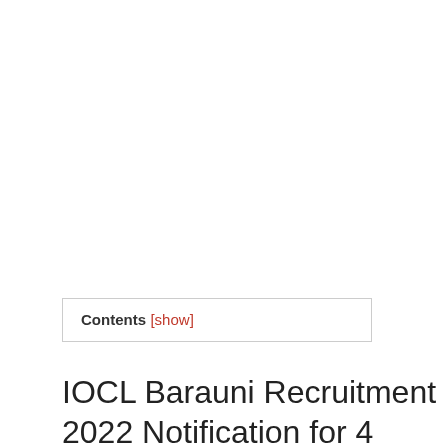Contents [show]
IOCL Barauni Recruitment 2022 Notification for 4 Junior